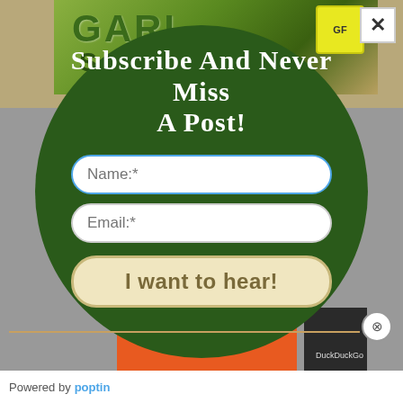[Figure (screenshot): Website popup/modal overlay screenshot showing a subscription form on a dark green circular background, with garlic product packaging visible behind it]
Subscribe and Never Miss a Post!
Name:*
Email:*
I want to hear!
Powered by poptin